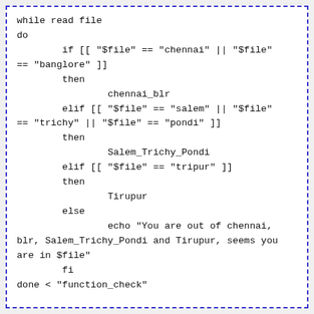while read file
do
        if [[ "$file" == "chennai" || "$file" == "banglore" ]]
        then
                chennai_blr
        elif [[ "$file" == "salem" || "$file" == "trichy" || "$file" == "pondi" ]]
        then
                Salem_Trichy_Pondi
        elif [[ "$file" == "tripur" ]]
        then
                Tirupur
        else
                echo "You are out of chennai, blr, Salem_Trichy_Pondi and Tirupur, seems you are in $file"
        fi
done < "function_check"